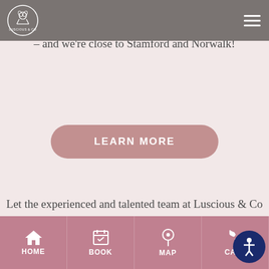Luscious & Co navigation bar with logo
taste, lifestyle, face shape, and age. Visit our location in New Canaan to make an appointment with a stylist – and we're close to Stamford and Norwalk!
LEARN MORE
Let the experienced and talented team at Luscious & Co help you transform your look. Not quite sure what you're looking for? The team at Luscious & Co are known for their creativity and collaboration with clients. Meet with us and let's
HOME  BOOK  MAP  CALL